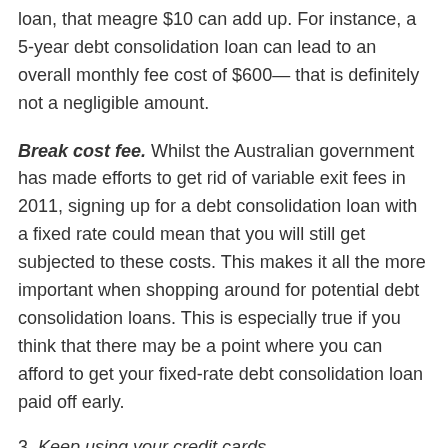loan, that meagre $10 can add up. For instance, a 5-year debt consolidation loan can lead to an overall monthly fee cost of $600— that is definitely not a negligible amount.
Break cost fee. Whilst the Australian government has made efforts to get rid of variable exit fees in 2011, signing up for a debt consolidation loan with a fixed rate could mean that you will still get subjected to these costs. This makes it all the more important when shopping around for potential debt consolidation loans. This is especially true if you think that there may be a point where you can afford to get your fixed-rate debt consolidation loan paid off early.
3. Keep using your credit cards
After you have found the right debt consolidation for your needs, it is high time you stop using plastic money. keeping up with your credit card spending whilst still working on paying off the debts you have already incurred is not really the best idea out there. Continuing to spend just like you did before is just